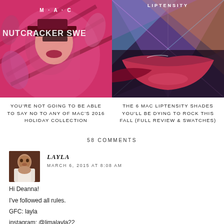[Figure (photo): MAC Nutcracker Sweet holiday collection promo image with model in pink dramatic makeup and costume]
[Figure (photo): MAC Liptensity lipstick promotional image showing lips and geometric colorful background]
YOU'RE NOT GOING TO BE ABLE TO SAY NO TO ANY OF MAC'S 2016 HOLIDAY COLLECTION
THE 6 MAC LIPTENSITY SHADES YOU'LL BE DYING TO ROCK THIS FALL (FULL REVIEW & SWATCHES)
58 COMMENTS
[Figure (photo): Avatar photo of commenter Layla]
LAYLA
MARCH 6, 2015 AT 8:08 AM
Hi Deanna!
I've followed all rules.
GFC: layla
instagram: @limalayla22
youtube: laylinha6